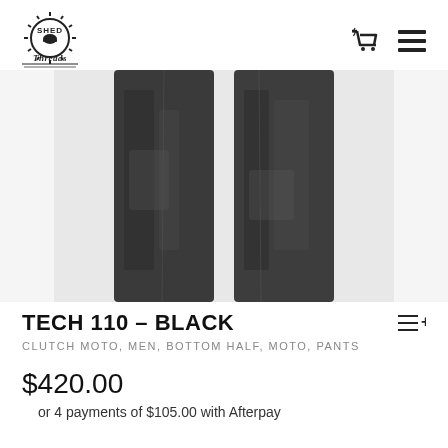[Figure (logo): Shed Threads brand logo with sunburst design and motorbike helmet graphic]
[Figure (photo): Close-up photo of dark black/charcoal motorcycle pants (Tech 110) showing both legs from waist to knee]
TECH 110 – BLACK
CLUTCH MOTO, MEN, BOTTOM HALF, MOTO, PANTS
$420.00
or 4 payments of $105.00 with Afterpay